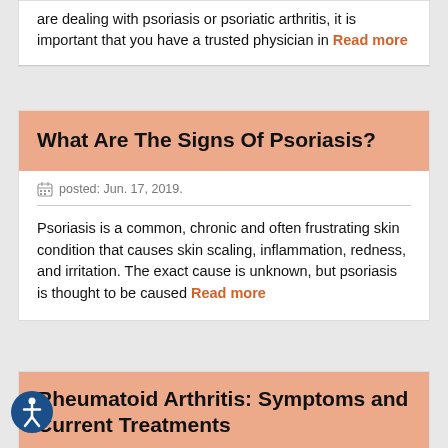are dealing with psoriasis or psoriatic arthritis, it is important that you have a trusted physician in Read more
What Are The Signs Of Psoriasis?
posted: Jun. 17, 2019.
Psoriasis is a common, chronic and often frustrating skin condition that causes skin scaling, inflammation, redness, and irritation. The exact cause is unknown, but psoriasis is thought to be caused Read more
Rheumatoid Arthritis: Symptoms and Current Treatments